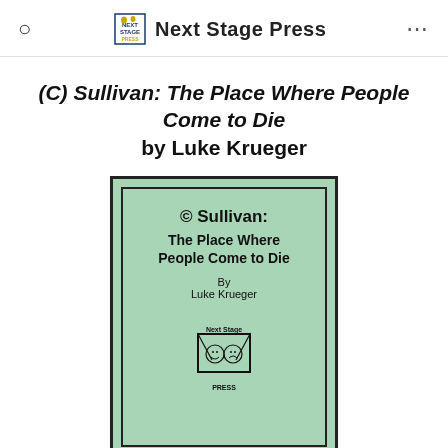Next Stage Press
(C) Sullivan: The Place Where People Come to Die by Luke Krueger
[Figure (illustration): Book cover with mint green background and black border. Title reads '© Sullivan: The Place Where People Come to Die' by Luke Krueger. Next Stage Press logo at bottom showing theatre masks.]